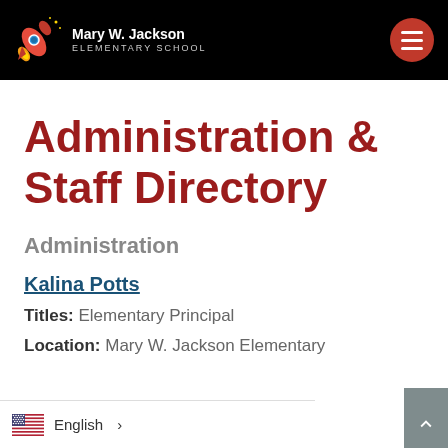Mary W. Jackson Elementary School
Administration & Staff Directory
Administration
Kalina Potts
Titles: Elementary Principal
Location: Mary W. Jackson Elementary